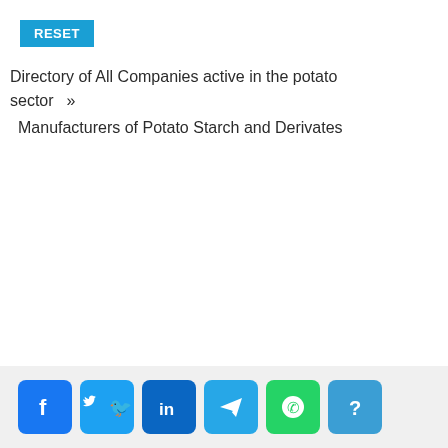[Figure (screenshot): RESET button - blue background with white text]
Directory of All Companies active in the potato sector »
Manufacturers of Potato Starch and Derivates
Social share icons: Facebook, Twitter, LinkedIn, Telegram, WhatsApp, Help